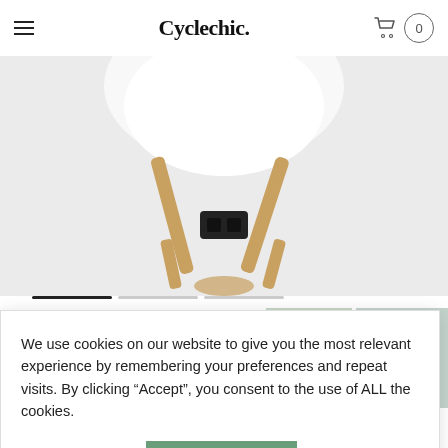Cyclechic. — navigation header with hamburger menu and cart (0)
[Figure (photo): Close-up of a bicycle helmet chin strap and buckle clasp, tan/beige colored straps with black buckle, against light grey background]
[Figure (photo): Thumbnail of a woman wearing a mint green bicycle helmet, front view]
[Figure (photo): Thumbnail of a woman wearing a mint green bicycle helmet, rear view]
We use cookies on our website to give you the most relevant experience by remembering your preferences and repeat visits. By clicking “Accept”, you consent to the use of ALL the cookies.
Cookie settings
ACCEPT ALL
Ladies Green
(5 customer reviews)